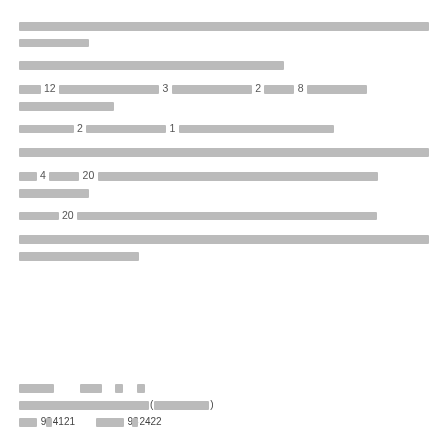[Redacted Japanese legal text paragraph 1]
[Redacted Japanese legal text paragraph 2]
[Redacted Japanese legal text paragraph 3 with numbers 12, 3, 2, 8]
[Redacted Japanese legal text paragraph 4 with numbers 2, 1]
[Redacted Japanese legal text paragraph 5]
[Redacted Japanese legal text paragraph 6 with numbers 4, 20]
[Redacted Japanese legal text paragraph 7 with number 20]
[Redacted Japanese legal text paragraph 8]
[Contact info: 93-4121 / 93-2422]